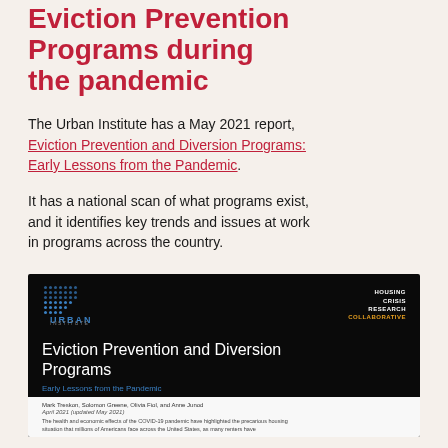Eviction Prevention Programs during the pandemic
The Urban Institute has a May 2021 report, Eviction Prevention and Diversion Programs: Early Lessons from the Pandemic.
It has a national scan of what programs exist, and it identifies key trends and issues at work in programs across the country.
[Figure (screenshot): Cover image of the Urban Institute report 'Eviction Prevention and Diversion Programs: Early Lessons from the Pandemic'. Dark background with Urban Institute logo (blue dots grid), Housing Crisis Research Collaborative logo in top right, report title in white, subtitle in blue, authors Mark Treskon, Solomon Greene, Olivia Fiol, and Anne Junod, dated April 2021 (updated May 2021), with opening abstract text about COVID-19 pandemic effects on housing.]